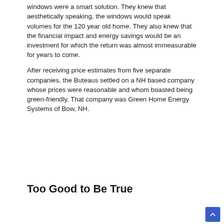windows were a smart solution. They knew that aesthetically speaking, the windows would speak volumes for the 120 year old home. They also knew that the financial impact and energy savings would be an investment for which the return was almost immeasurable for years to come.

After receiving price estimates from five separate companies, the Buteaus settled on a NH based company whose prices were reasonable and whom boasted being green-friendly. That company was Green Home Energy Systems of Bow, NH.
Too Good to Be True